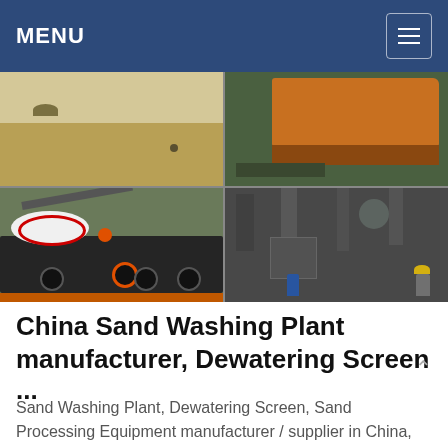MENU
[Figure (photo): Four-panel photo grid showing industrial mining/construction equipment and sites: top-left shows a quarry/gravel field landscape, top-right shows an orange industrial crusher machine, bottom-left shows a mobile jaw crusher on a trailer/truck, bottom-right shows an industrial interior with large pipes and workers wearing hard hats.]
China Sand Washing Plant manufacturer, Dewatering Screen ...
Sand Washing Plant, Dewatering Screen, Sand Processing Equipment manufacturer / supplier in China,